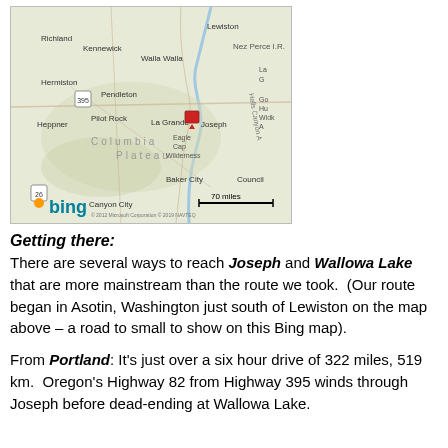[Figure (map): Bing map showing the Pacific Northwest region including Richland, Kennewick, Walla Walla, Pendleton, Hermiston, La Grande, Heppner, Pilot Rock, Joseph, Eagle Cap Wilderness, Baker City, Canyon City, Council, Lewiston, Nez Perce IR. A red marker is placed near Joseph, Oregon. Scale bar shows 70 miles. Bing logo in lower left.]
Getting there:
There are several ways to reach Joseph and Wallowa Lake that are more mainstream than the route we took.  (Our route began in Asotin, Washington just south of Lewiston on the map above – a road to small to show on this Bing map).
From Portland: It's just over a six hour drive of 322 miles, 519 km.  Oregon's Highway 82 from Highway 395 winds through Joseph before dead-ending at Wallowa Lake.